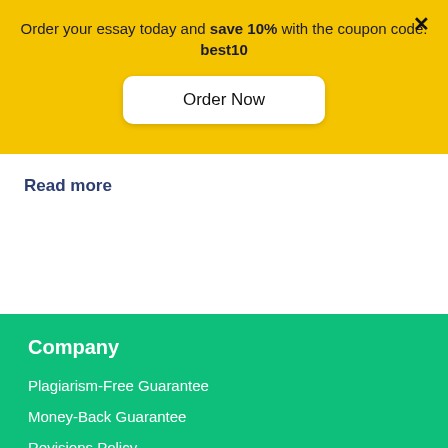Order your essay today and save 10% with the coupon code: best10
Order Now
Read more
Company
Plagiarism-Free Guarantee
Money-Back Guarantee
Revisions Policy
Chat
Customer Reviews